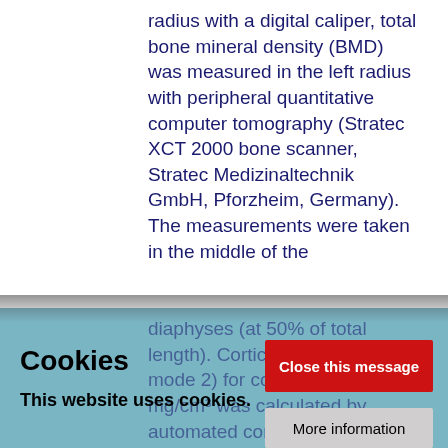radius with a digital caliper, total bone mineral density (BMD) was measured in the left radius with peripheral quantitative computer tomography (Stratec XCT 2000 bone scanner, Stratec Medizinaltechnik GmbH, Pforzheim, Germany). The measurements were taken in the middle of the
diaphyses (at 50% of total length). Cortical BMD (Cortical mode 2) for cortical bone ≥640 mg/cm³ was calculated by automated computation. Bone mineral density highest in group A, Group B...
Cookies
This website uses cookies.
Close this message
More information